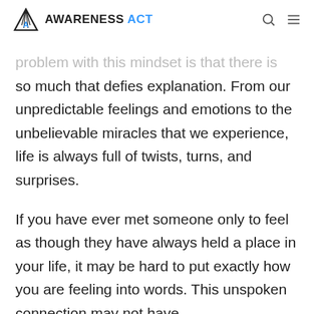AWARENESS ACT
problem with this mindset is that there is so much that defies explanation. From our unpredictable feelings and emotions to the unbelievable miracles that we experience, life is always full of twists, turns, and surprises.
If you have ever met someone only to feel as though they have always held a place in your life, it may be hard to put exactly how you are feeling into words. This unspoken connection may not have